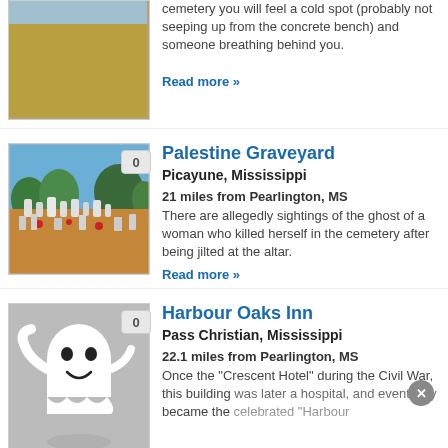[Figure (photo): Partial photo of cemetery or field with grave markers, golden/brown ground cover]
cemetery you will feel a cold spot (probably not seeping up from the concrete bench) and someone breathing behind you.
Read more »
[Figure (photo): Palestine Graveyard - cemetery with many white headstones under blue sky with trees]
Palestine Graveyard
Picayune, Mississippi
21 miles from Pearlington, MS
There are allegedly sightings of the ghost of a woman who killed herself in the cemetery after being jilted at the altar.
Read more »
[Figure (illustration): Ghost cartoon illustration - white friendly ghost with smile on gray background]
Harbour Oaks Inn
Pass Christian, Mississippi
22.1 miles from Pearlington, MS
Once the "Crescent Hotel" during the Civil War, this building was later a hospital, and eventually became the celebrated "Harbour ...